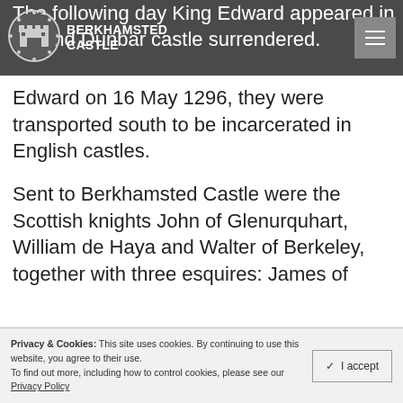BERKHAMSTED CASTLE
The following day King Edward appeared in ... and Dunbar castle surrendered. Many Scottish lords, knights and men-at-arms were taken prisoner, and at the order of Edward on 16 May 1296, they were transported south to be incarcerated in English castles.
Sent to Berkhamsted Castle were the Scottish knights John of Glenurquhart, William de Haya and Walter of Berkeley, together with three esquires: James of
Privacy & Cookies: This site uses cookies. By continuing to use this website, you agree to their use. To find out more, including how to control cookies, please see our Privacy Policy